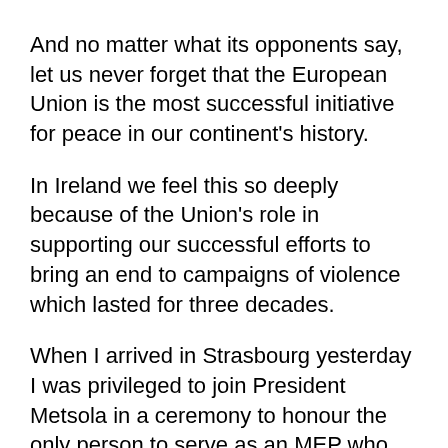And no matter what its opponents say, let us never forget that the European Union is the most successful initiative for peace in our continent's history.
In Ireland we feel this so deeply because of the Union's role in supporting our successful efforts to bring an end to campaigns of violence which lasted for three decades.
When I arrived in Strasbourg yesterday I was privileged to join President Metsola in a ceremony to honour the only person to serve as an MEP who was also awarded the Nobel Peace Prize.
John Hume was a political giant. A proud Irish nationalist and democrat, he dedicated his life to the cause of serving his people and persuading the